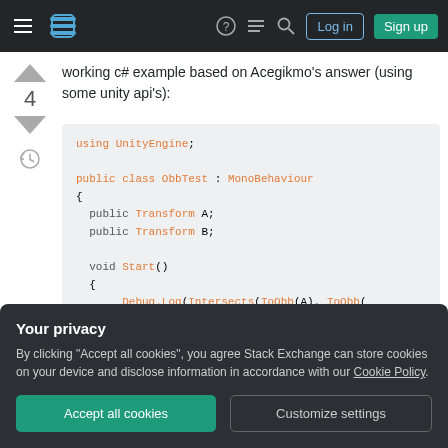Stack Exchange navigation bar with logo, icons, Log in and Sign up buttons
working c# example based on Acegikmo's answer (using some unity api's):
4
using UnityEngine;

public class ObbTest : MonoBehaviour
{
  public Transform A;
  public Transform B;

  void Start()
  {
        Debug.Log(Intersects(ToObb(A), ToObb(
Your privacy
By clicking "Accept all cookies", you agree Stack Exchange can store cookies on your device and disclose information in accordance with our Cookie Policy.
Accept all cookies
Customize settings